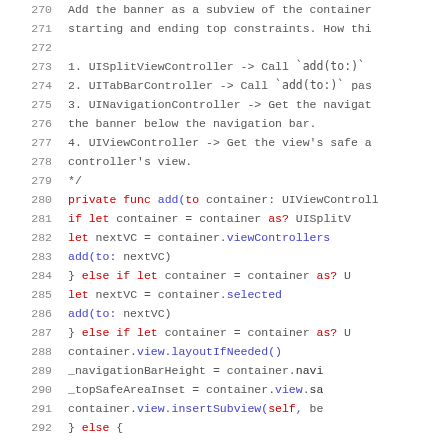[Figure (screenshot): Source code listing in Swift showing lines 270-292 of a file. Line numbers on left in gray, code on right with syntax highlighting (red for keywords, blue for method calls). Contains comments and Swift code for an add(to:) function handling UIViewController container types.]